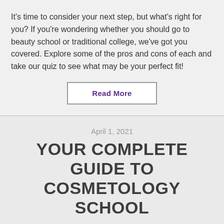It's time to consider your next step, but what's right for you? If you're wondering whether you should go to beauty school or traditional college, we've got you covered. Explore some of the pros and cons of each and take our quiz to see what may be your perfect fit!
Read More
April 1, 2021
YOUR COMPLETE GUIDE TO COSMETOLOGY SCHOOL